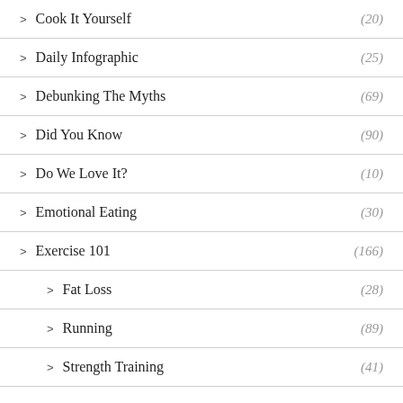Cook It Yourself (20)
Daily Infographic (25)
Debunking The Myths (69)
Did You Know (90)
Do We Love It? (10)
Emotional Eating (30)
Exercise 101 (166)
Fat Loss (28)
Running (89)
Strength Training (41)